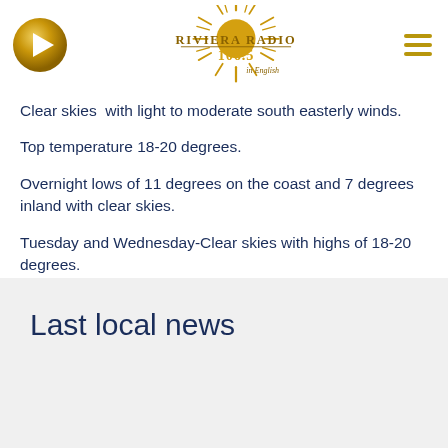[Figure (logo): Riviera Radio 106.5 in English logo with golden sun/rays graphic, play button on the left, hamburger menu icon on the right]
Clear skies  with light to moderate south easterly winds.
Top temperature 18-20 degrees.
Overnight lows of 11 degrees on the coast and 7 degrees inland with clear skies.
Tuesday and Wednesday-Clear skies with highs of 18-20 degrees.
Last local news